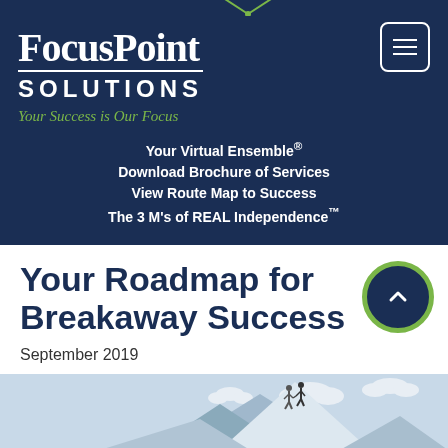[Figure (logo): FocusPoint Solutions logo with crosshair graphic, white serif text on dark navy background, tagline 'Your Success is Our Focus' in green italic]
Your Virtual Ensemble®
Download Brochure of Services
View Route Map to Success
The 3 M's of REAL Independence™
Your Roadmap for Breakaway Success
September 2019
[Figure (illustration): Illustration showing mountain scene with two figures shaking hands on a peak, clouds, and LIF acronym box (Leverage, Independence, Flexibility) on the left]